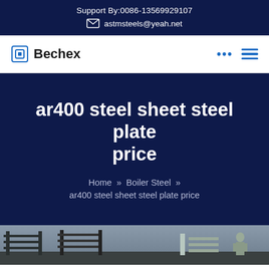Support By:0086-13569929107
astmsteels@yeah.net
Bechex
ar400 steel sheet steel plate price
Home » Boiler Steel » ar400 steel sheet steel plate price
[Figure (photo): Industrial steel facility photo strip at bottom of page]